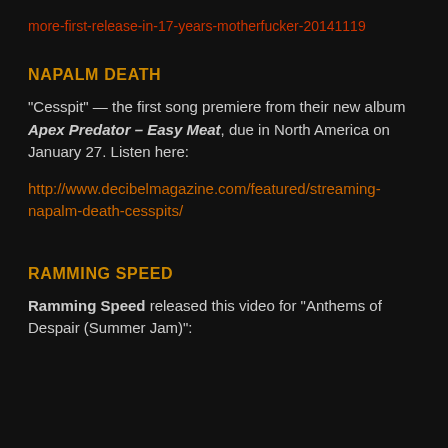more-first-release-in-17-years-motherfucker-20141119
NAPALM DEATH
“Cesspit” — the first song premiere from their new album Apex Predator – Easy Meat, due in North America on January 27. Listen here:
http://www.decibelmagazine.com/featured/streaming-napalm-death-cesspits/
RAMMING SPEED
Ramming Speed released this video for “Anthems of Despair (Summer Jam)”: